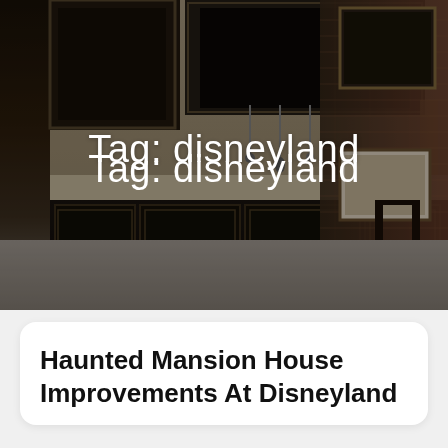[Figure (photo): Dark moody kitchen interior with black cabinets, brick wall, framed pictures, and wooden flooring. The image has a dim, atmospheric quality.]
Tag: disneyland
Haunted Mansion House Improvements At Disneyland